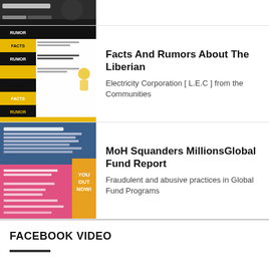[Figure (screenshot): Partial top card thumbnail showing a hand with a phone, cropped]
[Figure (infographic): Facts and Rumors infographic about Liberian Electricity Corporation with yellow and black panels]
Facts And Rumors About The Liberian
Electricity Corporation [ L.E.C ] from the Communities
[Figure (infographic): Office of the Inspector General infographic with blue, pink sections and Global Fund branding]
MoH Squanders MillionsGlobal Fund Report
Fraudulent and abusive practices in Global Fund Programs
FACEBOOK VIDEO